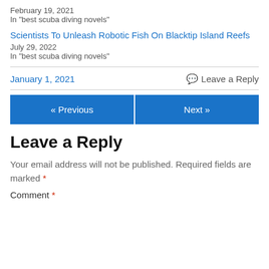February 19, 2021
In "best scuba diving novels"
Scientists To Unleash Robotic Fish On Blacktip Island Reefs
July 29, 2022
In "best scuba diving novels"
January 1, 2021
Leave a Reply
« Previous
Next »
Leave a Reply
Your email address will not be published. Required fields are marked *
Comment *